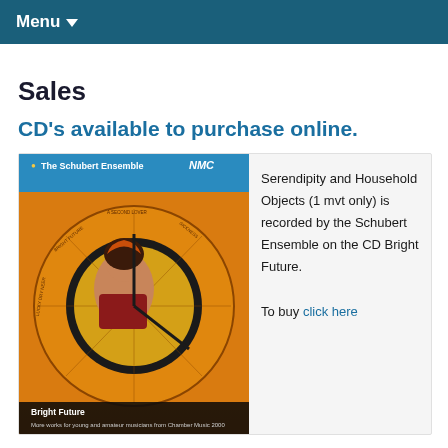Menu
Sales
CD's available to purchase online.
[Figure (photo): CD cover artwork for 'Bright Future' by The Schubert Ensemble on NMC label, featuring a vintage illustration of a woman with an orange spinning wheel of fortune disc]
Serendipity and Household Objects (1 mvt only) is recorded by the Schubert Ensemble on the CD Bright Future.

To buy click here